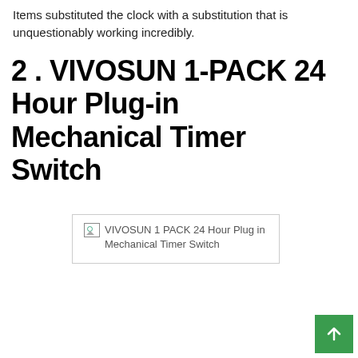Items substituted the clock with a substitution that is unquestionably working incredibly.
2 . VIVOSUN 1-PACK 24 Hour Plug-in Mechanical Timer Switch
[Figure (other): Broken image placeholder for VIVOSUN 1 PACK 24 Hour Plug in Mechanical Timer Switch]
VIVOSUN 1 PACK 24 Hour Plug in Mechanical Timer Switch